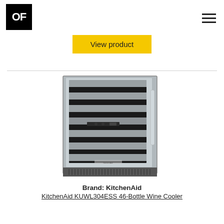OF
View product
[Figure (photo): KitchenAid KUWL304ESS 46-Bottle Wine Cooler product photo showing a stainless steel undercounter wine refrigerator with glass door and multiple wine racks]
Brand: KitchenAid
KitchenAid KUWL304ESS 46-Bottle Wine Cooler